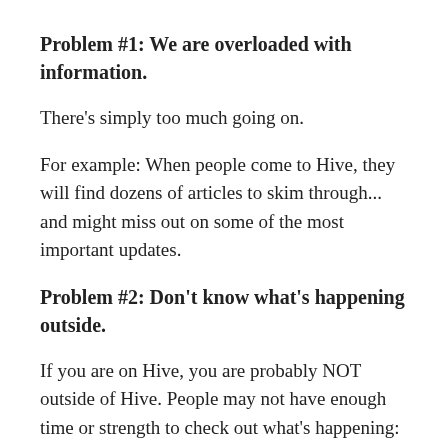Problem #1: We are overloaded with information.
There's simply too much going on.
For example: When people come to Hive, they will find dozens of articles to skim through... and might miss out on some of the most important updates.
Problem #2: Don't know what's happening outside.
If you are on Hive, you are probably NOT outside of Hive. People may not have enough time or strength to check out what's happening:
On Twitter